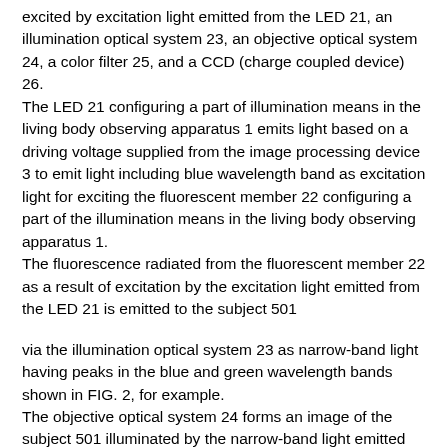excited by excitation light emitted from the LED 21, an illumination optical system 23, an objective optical system 24, a color filter 25, and a CCD (charge coupled device) 26.
The LED 21 configuring a part of illumination means in the living body observing apparatus 1 emits light based on a driving voltage supplied from the image processing device 3 to emit light including blue wavelength band as excitation light for exciting the fluorescent member 22 configuring a part of the illumination means in the living body observing apparatus 1.
The fluorescence radiated from the fluorescent member 22 as a result of excitation by the excitation light emitted from the LED 21 is emitted to the subject 501

via the illumination optical system 23 as narrow-band light having peaks in the blue and green wavelength bands shown in FIG. 2, for example.
The objective optical system 24 forms an image of the subject 501 illuminated by the narrow-band light emitted from the illumination optical system 23.
The color filter 25 as color separation means in the living body observing apparatus 1 is provided on an